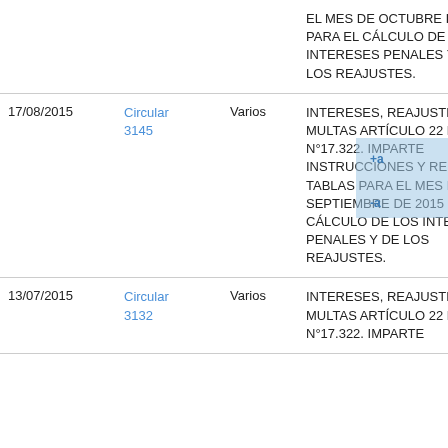| Fecha | Circular | Tipo | Descripción |
| --- | --- | --- | --- |
|  |  |  | EL MES DE OCTUBRE DE 2015 PARA EL CÁLCULO DE LOS INTERESES PENALES Y DE LOS REAJUSTES. |
| 17/08/2015 | Circular 3145 | Varios | INTERESES, REAJUSTES Y MULTAS ARTÍCULO 22 LEY N°17.322. IMPARTE INSTRUCCIONES Y REMITE TABLAS PARA EL MES DE SEPTIEMBRE DE 2015 PARA EL CÁLCULO DE LOS INTERESES PENALES Y DE LOS REAJUSTES. |
| 13/07/2015 | Circular 3132 | Varios | INTERESES, REAJUSTES Y MULTAS ARTÍCULO 22 LEY N°17.322. IMPARTE |